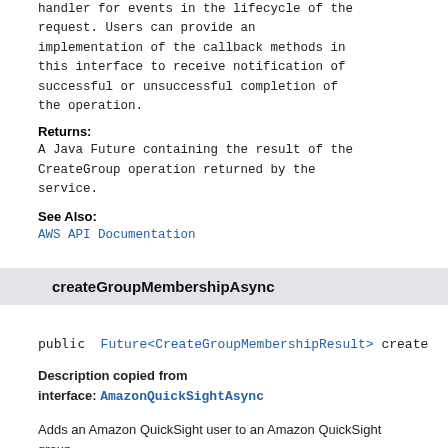handler for events in the lifecycle of the request. Users can provide an implementation of the callback methods in this interface to receive notification of successful or unsuccessful completion of the operation.
Returns:
A Java Future containing the result of the CreateGroup operation returned by the service.
See Also:
AWS API Documentation
createGroupMembershipAsync
public Future<CreateGroupMembershipResult> create
Description copied from interface: AmazonQuickSightAsync
Adds an Amazon QuickSight user to an Amazon QuickSight group.